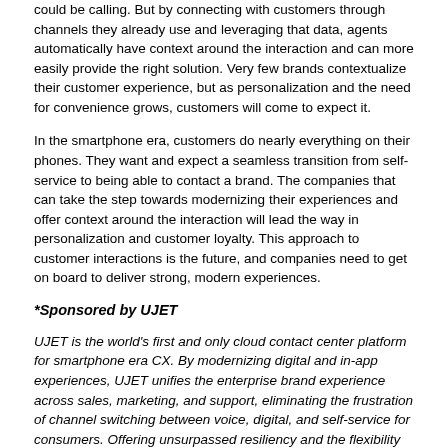could be calling. But by connecting with customers through channels they already use and leveraging that data, agents automatically have context around the interaction and can more easily provide the right solution. Very few brands contextualize their customer experience, but as personalization and the need for convenience grows, customers will come to expect it.
In the smartphone era, customers do nearly everything on their phones. They want and expect a seamless transition from self-service to being able to contact a brand. The companies that can take the step towards modernizing their experiences and offer context around the interaction will lead the way in personalization and customer loyalty. This approach to customer interactions is the future, and companies need to get on board to deliver strong, modern experiences.
*Sponsored by UJET
UJET is the world's first and only cloud contact center platform for smartphone era CX. By modernizing digital and in-app experiences, UJET unifies the enterprise brand experience across sales, marketing, and support, eliminating the frustration of channel switching between voice, digital, and self-service for consumers. Offering unsurpassed resiliency and the flexibility to deploy across leading public cloud infrastructures, UJET powers the world's largest elastic CCaaS tenant at up to 22,000 agents globally and is trusted by innovative, customer-centric enterprises like Instacart, Turo, Wag!, and Atom Tickets to intelligently orchestrate predictive, contextual, conversational customer experiences.